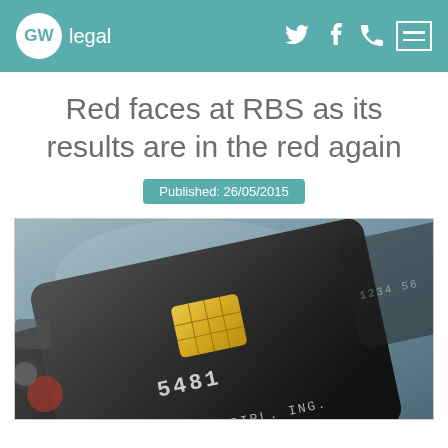GW legal
Red faces at RBS as its results are in the red again
Published: 26/05/2015
[Figure (photo): Close-up photo of dark credit/debit cards with a gold chip and embossed numbers, on a surface with other card-related items. Text on card reads 'DIPL. ING.' and '5481'.]